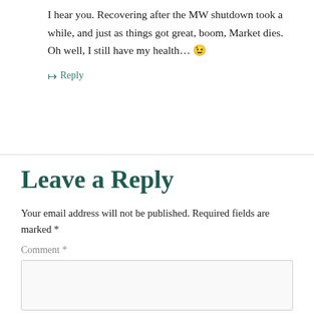I hear you. Recovering after the MW shutdown took a while, and just as things got great, boom, Market dies. Oh well, I still have my health… 😉
↦ Reply
Leave a Reply
Your email address will not be published. Required fields are marked *
Comment *